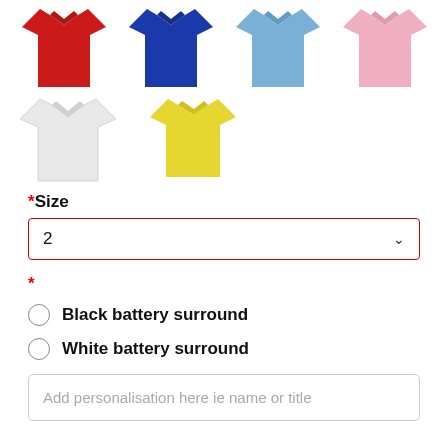[Figure (illustration): Six t-shirts in different colors: red, blue, light blue, pink (top row), white, yellow (bottom row)]
*Size
2
*
Black battery surround
White battery surround
Add personalisation here ie name or title